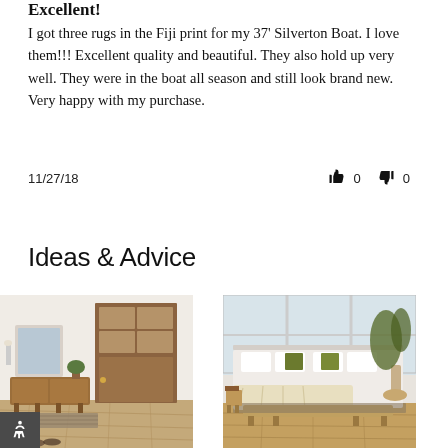Excellent!
I got three rugs in the Fiji print for my 37' Silverton Boat. I love them!!! Excellent quality and beautiful. They also hold up very well. They were in the boat all season and still look brand new. Very happy with my purchase.
11/27/18   👍 0   👎 0
Ideas & Advice
[Figure (photo): Interior entryway with a wooden front door with glass panels, a mid-century modern sideboard/console table, a framed artwork leaning against the wall, a small plant, and a runner rug on hardwood floors.]
[Figure (photo): Bedroom interior with a white bed featuring green velvet accent pillows, a throw blanket, a wooden bench at the foot of the bed, a potted tree in the corner, and an area rug on hardwood floors.]